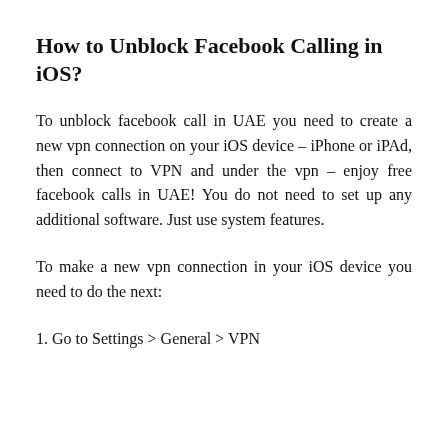How to Unblock Facebook Calling in iOS?
To unblock facebook call in UAE you need to create a new vpn connection on your iOS device – iPhone or iPAd, then connect to VPN and under the vpn – enjoy free facebook calls in UAE! You do not need to set up any additional software. Just use system features.
To make a new vpn connection in your iOS device you need to do the next:
1. Go to Settings > General > VPN